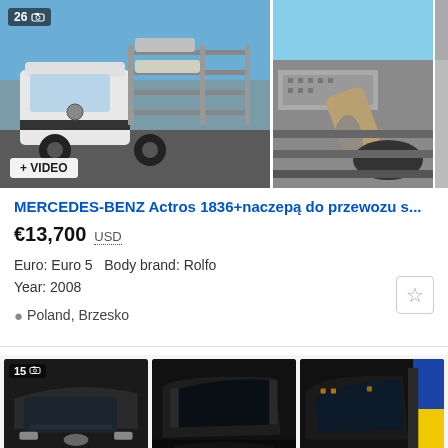[Figure (photo): Main listing photo: white Mercedes-Benz Actros truck with car transporter body, parked outdoors under blue sky. Badge showing '26' photo count and camera icon. '+ VIDEO' badge at bottom left.]
[Figure (photo): Secondary photo: close-up detail of the car transporter ramp/frame metalwork in silver/grey.]
MERCEDES-BENZ Actros 1836+naczepą do przewozu s...
€13,700  USD
Euro: Euro 5  Body brand: Rolfo
Year: 2008
Poland, Brzesko
[Figure (photo): Thumbnail 1: truck cab interior/exterior close-up, dark. Photo count badge '15' with camera icon.]
[Figure (photo): Thumbnail 2: black truck cab exterior view from front.]
[Figure (photo): Thumbnail 3: truck cab exterior with blue/yellow accent stripe visible on right side.]